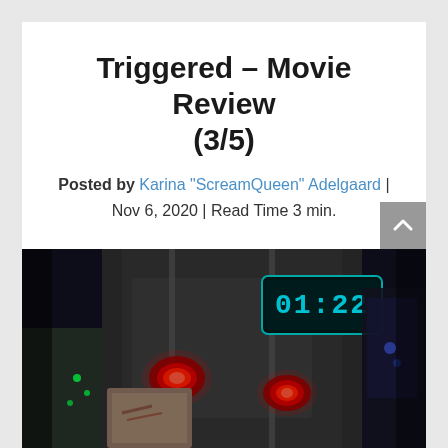Triggered – Movie Review (3/5)
Posted by Karina "ScreamQueen" Adelgaard | Nov 6, 2020 | Read Time 3 min.
[Figure (photo): Movie poster/still for Triggered showing a close-up of a person's torso with sci-fi bomb/timer devices strapped to them, displaying 01:22 in cyan digital numbers, with red glowing elements. Dark cinematic scene with other characters visible in background.]